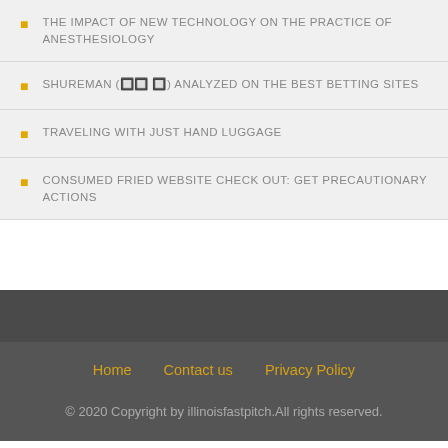THE IMPACT OF NEW TECHNOLOGY ON THE PRACTICE OF ANESTHESIOLOGY
SHUREMAN (🔲🔲 🔲) ANALYZED ON THE BEST BETTING SITES
TRAVELING WITH JUST HAND LUGGAGE
CONSUMED FRIED WEBSITE CHECK OUT: GET PRECAUTIONARY ACTIONS
Home   Contact us   Privacy Policy
© 2020 Copyright by illinoisfastpitch.All rights reserved.